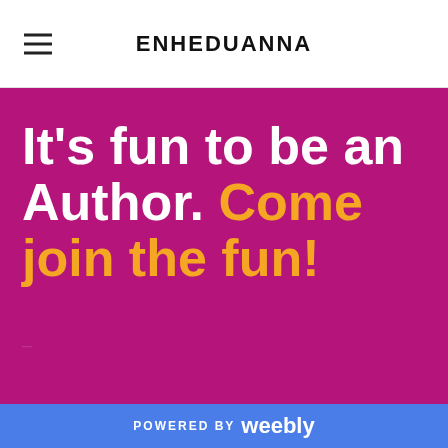ENHEDUANNA
It's fun to be an Author. Come join the fun!
POWERED BY weebly